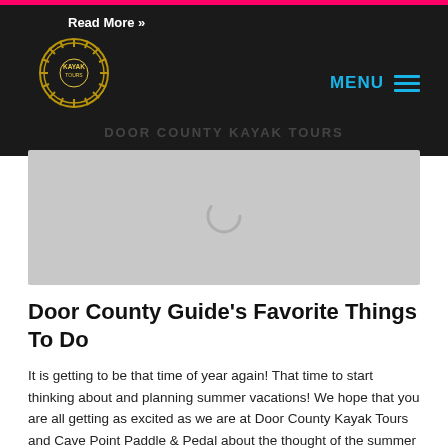Read More »
[Figure (logo): Door County Kayak Tours circular logo with gear/sun design on dark background]
MENU
[Figure (photo): Gray placeholder image with loading spinner in center]
Door County Guide's Favorite Things To Do
It is getting to be that time of year again! That time to start thinking about and planning summer vacations! We hope that you are all getting as excited as we are at Door County Kayak Tours and Cave Point Paddle & Pedal about the thought of the summer sun and playing on Lake Michigan...